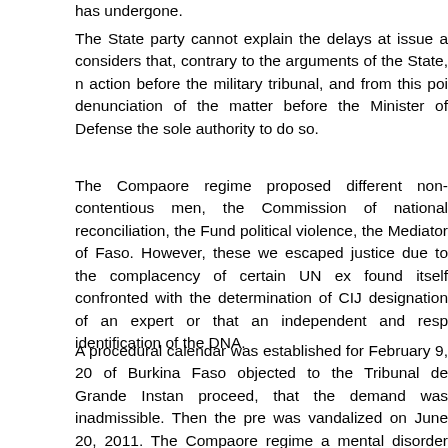has undergone.
The State party cannot explain the delays at issue and considers that, contrary to the arguments of the State, n action before the military tribunal, and from this poi denunciation of the matter before the Minister of Defense the sole authority to do so.
The Compaore regime proposed different non-contentious men, the Commission of national reconciliation, the Fund political violence, the Mediator of Faso. However, these we escaped justice due to the complacency of certain UN ex found itself confronted with the determination of CIJ designation of an expert or that an independent and resp identification of the DNA.
A procedural calendar was established for February 9, 20 of Burkina Faso objected to the Tribunal de Grande Instan proceed, that the demand was inadmissible. Then the pre was vandalized on June 20, 2011. The Compaore regime a mental disorder that committed this act and announced t